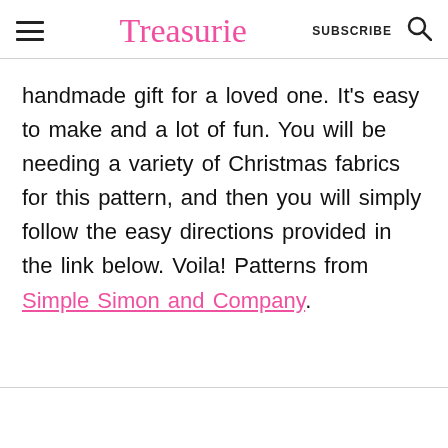Treasurie  SUBSCRIBE
handmade gift for a loved one. It's easy to make and a lot of fun. You will be needing a variety of Christmas fabrics for this pattern, and then you will simply follow the easy directions provided in the link below. Voila! Patterns from Simple Simon and Company.